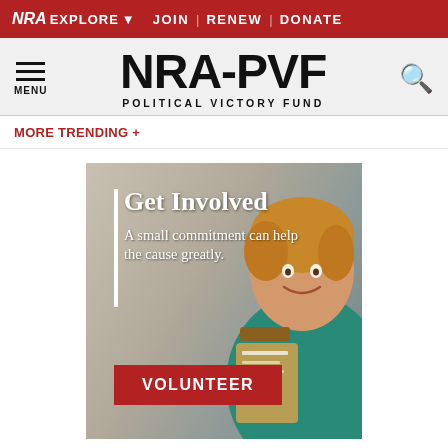NRA EXPLORE  JOIN | RENEW | DONATE
[Figure (logo): NRA-PVF Political Victory Fund logo with menu icon and search icon]
MORE TRENDING +
[Figure (photo): Young man smiling holding a clipboard with 'Get Involved - A small commitment can help the cause greatly.' text overlay and red VOLUNTEER button]